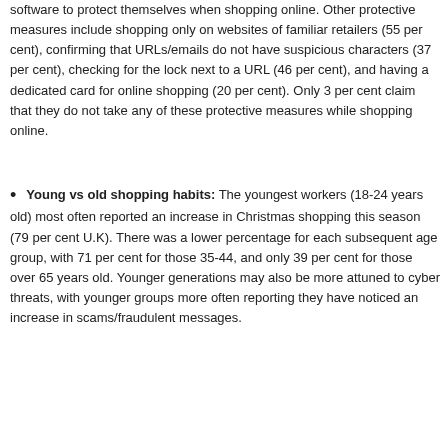software to protect themselves when shopping online. Other protective measures include shopping only on websites of familiar retailers (55 per cent), confirming that URLs/emails do not have suspicious characters (37 per cent), checking for the lock next to a URL (46 per cent), and having a dedicated card for online shopping (20 per cent). Only 3 per cent claim that they do not take any of these protective measures while shopping online.
Young vs old shopping habits: The youngest workers (18-24 years old) most often reported an increase in Christmas shopping this season (79 per cent U.K). There was a lower percentage for each subsequent age group, with 71 per cent for those 35-44, and only 39 per cent for those over 65 years old. Younger generations may also be more attuned to cyber threats, with younger groups more often reporting they have noticed an increase in scams/fraudulent messages.